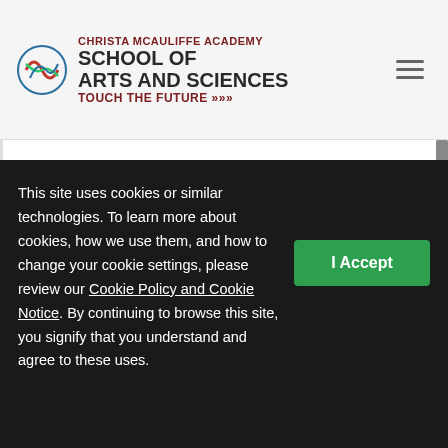Christa McAuliffe Academy School of Arts and Sciences Touch The Future
Duration : 2 Semesters
Prerequisites : Due to the mature content, this course is recommended for students in 10th, 11th, and 12th in conjunction with or who have successfully completed World History.
This site uses cookies or similar technologies. To learn more about cookies, how we use them, and how to change your cookie settings, please review our Cookie Policy and Cookie Notice. By continuing to browse this site, you signify that you understand and agree to these uses.